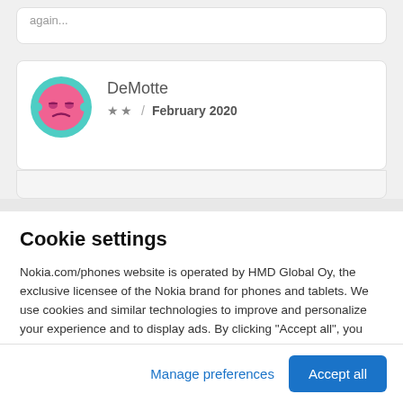again...
[Figure (illustration): User avatar: pink cartoon face with teal circular border]
DeMotte
★★ / February 2020
Cookie settings
Nokia.com/phones website is operated by HMD Global Oy, the exclusive licensee of the Nokia brand for phones and tablets. We use cookies and similar technologies to improve and personalize your experience and to display ads. By clicking "Accept all", you agree to the use of cookies and similar technologies. You can change your settings at any time by selecting "Cookie Settings" at the bottom of the site. Learn more about our cookie
Manage preferences
Accept all